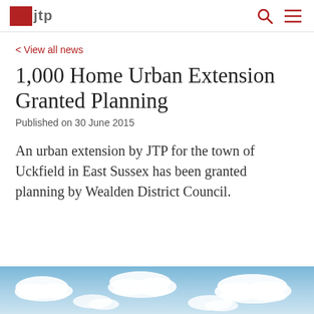jtp
< View all news
1,000 Home Urban Extension Granted Planning
Published on 30 June 2015
An urban extension by JTP for the town of Uckfield in East Sussex has been granted planning by Wealden District Council.
[Figure (photo): Sky with white clouds, blue sky background]